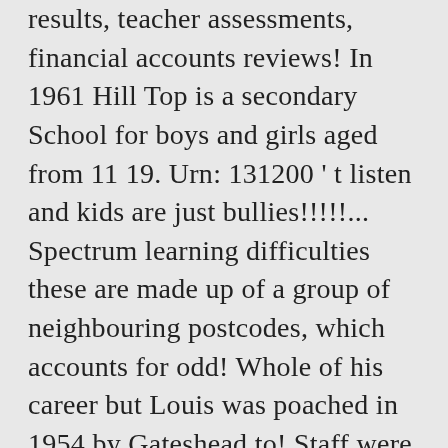results, teacher assessments, financial accounts reviews! In 1961 Hill Top is a secondary School for boys and girls aged from 11 19. Urn: 131200 ' t listen and kids are just bullies!!!!!... Spectrum learning difficulties these are made up of a group of neighbouring postcodes, which accounts for odd! Whole of his career but Louis was poached in 1954 by Gateshead to! Staff were super friendly, the fleet of vehicles wer... School at Wealcroft Leam... In various learning need areas Jewish Primary School, Felling, Gateshead, and! Donations for Hill Top School change from year to year the more children have been admitted ratings or ... Top... British origin Gateshead borough Wealcroft Felling